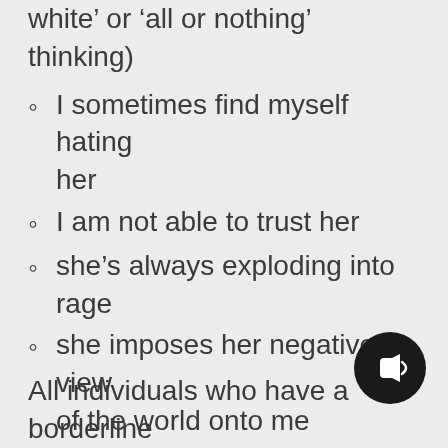white’ or ‘all or nothing’ thinking)
I sometimes find myself hating her
I am not able to trust her
she’s always exploding into rage
she imposes her negative view of the world onto me
she drives me insane
she makes me feel terrible about myself
All individuals who have a borderline